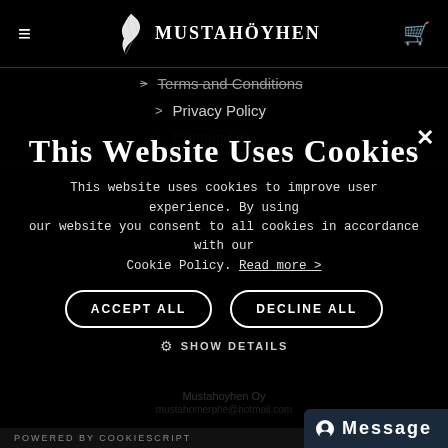MUSTAHÖYHEN (website header with hamburger menu, logo, cart icon)
> Terms and Conditions
> Privacy Policy
> Contact Us
This website uses cookies
This website uses cookies to improve user experience. By using our website you consent to all cookies in accordance with our Cookie Policy. Read more >
ACCEPT ALL   DECLINE ALL
⚙ SHOW DETAILS
POWERED BY COOKIESCRIPT   Message